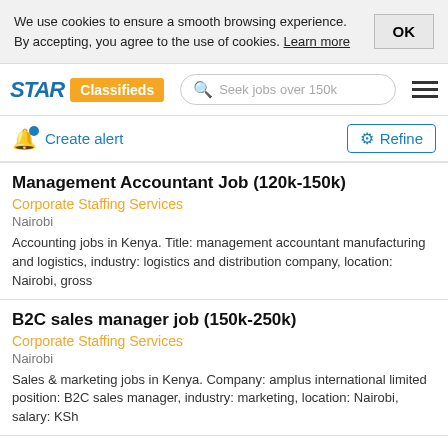We use cookies to ensure a smooth browsing experience. By accepting, you agree to the use of cookies. Learn more
STAR Classifieds — Seek jobs over 150k
Create alert
Refine
Management Accountant Job (120k-150k)
Corporate Staffing Services
Nairobi
Accounting jobs in Kenya. Title: management accountant manufacturing and logistics, industry: logistics and distribution company, location: Nairobi, gross
B2C sales manager job (150k-250k)
Corporate Staffing Services
Nairobi
Sales & marketing jobs in Kenya. Company: amplus international limited position: B2C sales manager, industry: marketing, location: Nairobi, salary: KSh
It manager job (130-150k)
Corporate Staffing Services